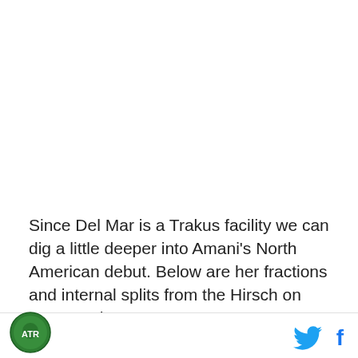Since Del Mar is a Trakus facility we can dig a little deeper into Amani's North American debut. Below are her fractions and internal splits from the Hirsch on August 4th:
Fractions
[Figure (logo): Circular green logo with horse/animal illustration]